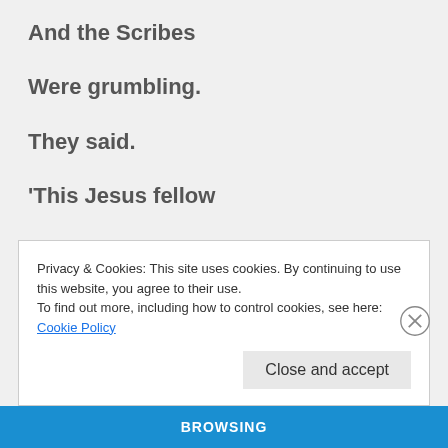And the Scribes
Were grumbling.
They said.
'This Jesus fellow
Welcomes sinners.
He eats with them."'
Privacy & Cookies: This site uses cookies. By continuing to use this website, you agree to their use.
To find out more, including how to control cookies, see here: Cookie Policy
Close and accept